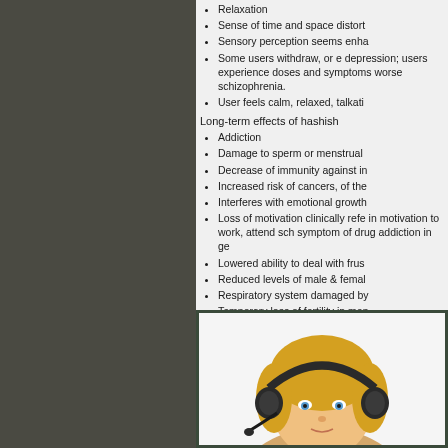Relaxation
Sense of time and space distort
Sensory perception seems enha
Some users withdraw, or e depression; users experience doses and symptoms worse schizophrenia.
User feels calm, relaxed, talkati
Long-term effects of hashish
Addiction
Damage to sperm or menstrual
Decrease of immunity against in
Increased risk of cancers, of the
Interferes with emotional growth
Loss of motivation clinically refe in motivation to work, attend sch symptom of drug addiction in ge
Lowered ability to deal with frus
Reduced levels of male & femal
Respiratory system damaged by
Temporary loss of fertility in men
[Figure (photo): Young blonde child wearing a headset/headphones, looking at camera]